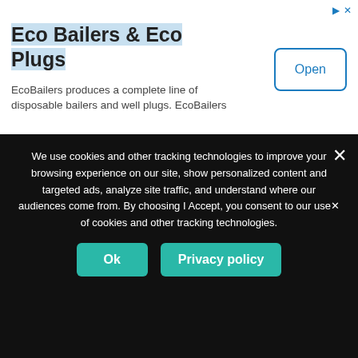[Figure (other): Advertisement banner for Eco Bailers & Eco Plugs with Open button]
Eco Bailers & Eco Plugs
EcoBailers produces a complete line of disposable bailers and well plugs. EcoBailers
[Figure (other): Collapse/chevron up toggle button]
[Figure (photo): Vinyl record label showing LIVES RECORDS, OVER U BODY, TOP CAT]
Mr Big Stuff Riddim Mix 1994 Top Cat,Tenor Fly (Nine Lives)
August 12, 2022
[Figure (photo): Vinyl record label partially visible]
Arena Riddim Mix 1997 Merciless,Mad Cobra,Captian Bakev,Lukie D & More (Top
We use cookies and other tracking technologies to improve your browsing experience on our site, show personalized content and targeted ads, analyze site traffic, and understand where our audiences come from. By choosing I Accept, you consent to our use of cookies and other tracking technologies.